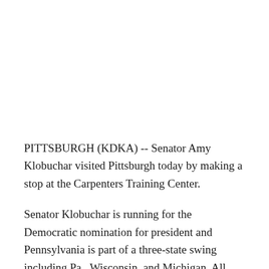PITTSBURGH (KDKA) -- Senator Amy Klobuchar visited Pittsburgh today by making a stop at the Carpenters Training Center.
Senator Klobuchar is running for the Democratic nomination for president and Pennsylvania is part of a three-state swing including Pa., Wisconsin, and Michigan. All three voted for Donald Trump in the 2016 presidential election, making him President of